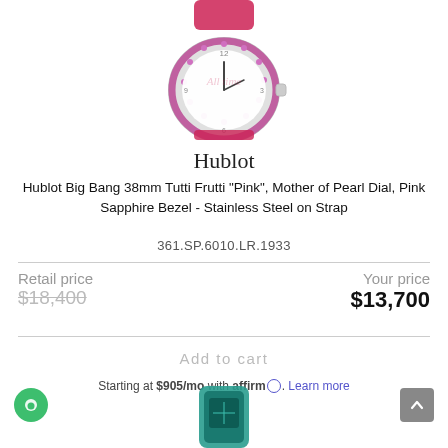[Figure (photo): Hublot Big Bang watch with pink/red leather strap, white mother of pearl dial, pink sapphire bezel, stainless steel case, shown from above.]
Hublot
Hublot Big Bang 38mm Tutti Frutti "Pink", Mother of Pearl Dial, Pink Sapphire Bezel - Stainless Steel on Strap
361.SP.6010.LR.1933
Retail price $18,400   Your price $13,700
Add to cart
Starting at $905/mo with affirm. Learn more
[Figure (photo): Partial view of a teal/blue-green Hublot watch at the bottom of the page.]